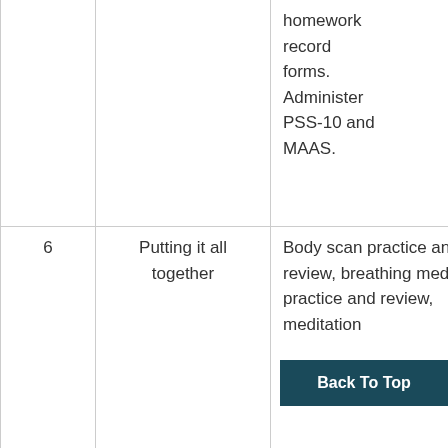| # | Topic | Content |
| --- | --- | --- |
|  |  | homework record forms. Administer PSS-10 and MAAS. |
| 6 | Putting it all together | Body scan practice and review, breathing meditation practice and review, meditation |
Back To Top